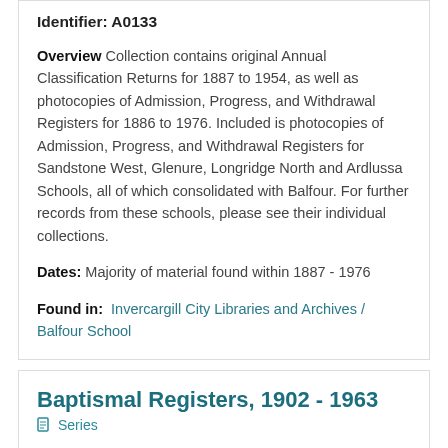Identifier: A0133
Overview Collection contains original Annual Classification Returns for 1887 to 1954, as well as photocopies of Admission, Progress, and Withdrawal Registers for 1886 to 1976. Included is photocopies of Admission, Progress, and Withdrawal Registers for Sandstone West, Glenure, Longridge North and Ardlussa Schools, all of which consolidated with Balfour. For further records from these schools, please see their individual collections.
Dates: Majority of material found within 1887 - 1976
Found in: Invercargill City Libraries and Archives / Balfour School
Baptismal Registers, 1902 - 1963
Series